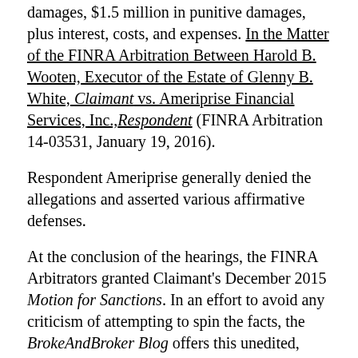damages, $1.5 million in punitive damages, plus interest, costs, and expenses. In the Matter of the FINRA Arbitration Between Harold B. Wooten, Executor of the Estate of Glenny B. White, Claimant vs. Ameriprise Financial Services, Inc., Respondent (FINRA Arbitration 14-03531, January 19, 2016).
Respondent Ameriprise generally denied the allegations and asserted various affirmative defenses.
At the conclusion of the hearings, the FINRA Arbitrators granted Claimant's December 2015 Motion for Sanctions. In an effort to avoid any criticism of attempting to spin the facts, the BrokeAndBroker Blog offers this unedited, full-text of the FINRA Arbitration Decision's "Award" section:
AWARD